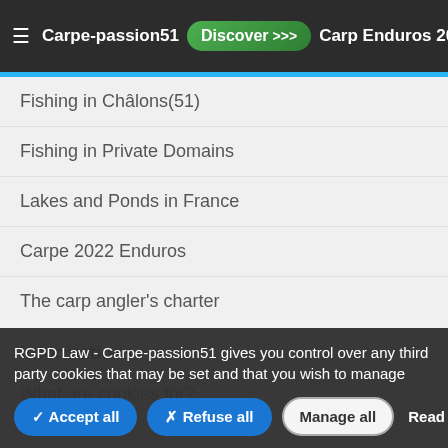≡ Carpe-passion51  Discover >>>  Carp Enduros 2022: news!
Fishing in Châlons(51)
Fishing in Private Domains
Lakes and Ponds in France
Carpe 2022 Enduros
The carp angler's charter
Informations
What are cookies for?
RGPD Law - Carpe-passion51 gives you control over any third party cookies that may be set and that you wish to manage
✓ Accept all   ✗ Refuse all   Manage all   Read more